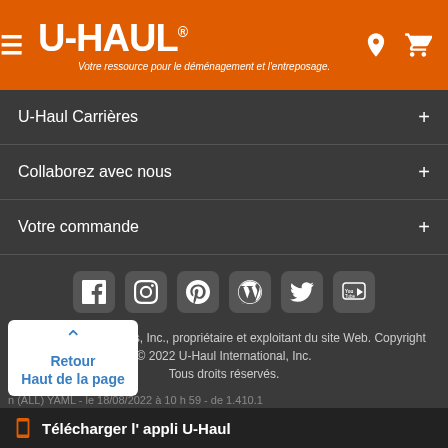U-HAUL — Votre ressource pour le déménagement et l'entreposage.
U-Haul Carrières +
Collaborez avec nous +
Votre commande +
[Figure (other): Social media icons: Facebook, Instagram, Pinterest, WordPress, Twitter, YouTube]
Web Team Associates, Inc., propriétaire et exploitant du site Web. Copyright © 2022 U-Haul International, Inc. Tous droits réservés.
Arbitrage | Politique de confidentialité | Modalités d'utilisation | U-Haul Établissements
n (ALL) YAML - le 18/08/2022 à 10 h 59 - de 1.410.1
Retour Haut de la page
Télécharger l' appli U-Haul